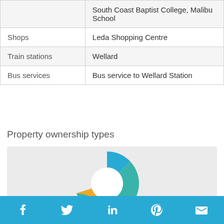|  |  |
| --- | --- |
|  | South Coast Baptist College, Malibu School |
| Shops | Leda Shopping Centre |
| Train stations | Wellard |
| Bus services | Bus service to Wellard Station |
Property ownership types
[Figure (donut-chart): Property ownership types]
Social share icons: Facebook, Twitter, LinkedIn, Pinterest, Email